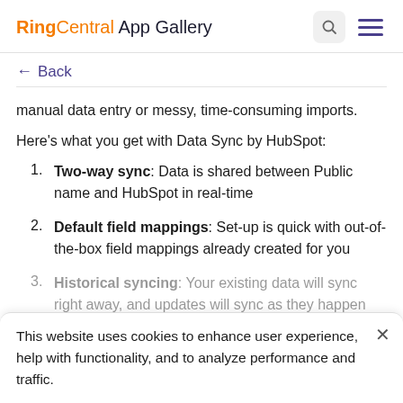RingCentral App Gallery
← Back
manual data entry or messy, time-consuming imports.
Here's what you get with Data Sync by HubSpot:
Two-way sync: Data is shared between Public name and HubSpot in real-time
Default field mappings: Set-up is quick with out-of-the-box field mappings already created for you
Historical syncing: Your existing data will sync right away, and updates will sync as they happen
This website uses cookies to enhance user experience, help with functionality, and to analyze performance and traffic.